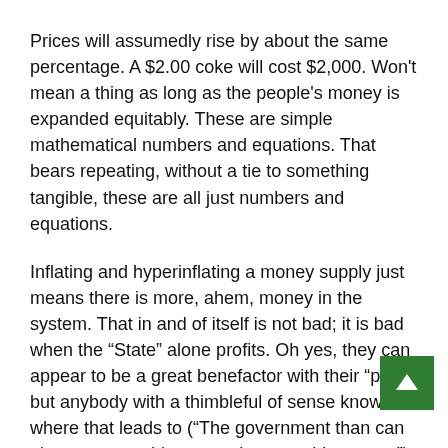Prices will assumedly rise by about the same percentage. A $2.00 coke will cost $2,000. Won't mean a thing as long as the people's money is expanded equitably. These are simple mathematical numbers and equations. That bears repeating, without a tie to something tangible, these are all just numbers and equations.
Inflating and hyperinflating a money supply just means there is more, ahem, money in the system. That in and of itself is not bad; it is bad when the “State” alone profits. Oh yes, they can appear to be a great benefactor with their “profit” but anybody with a thimbleful of sense knows where that leads to (“The government than can give you everything can take everything away.”)
At this point it is too easy to say, “That is why gold, silver, and copper should be money.” Those metals can be inflated and hyper-inflated too. How? By changing the “pegged” quantity associated with the coins/reserves: bullion, dollar, quarter,